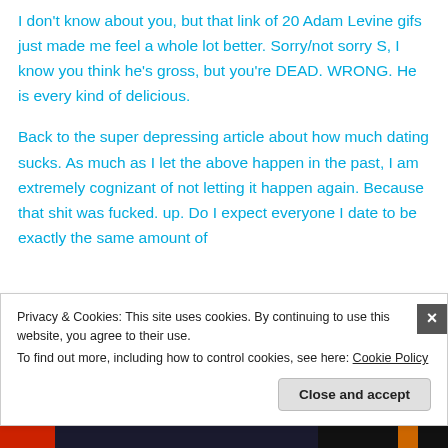I don't know about you, but that link of 20 Adam Levine gifs just made me feel a whole lot better. Sorry/not sorry S, I know you think he's gross, but you're DEAD. WRONG. He is every kind of delicious.
Back to the super depressing article about how much dating sucks. As much as I let the above happen in the past, I am extremely cognizant of not letting it happen again. Because that shit was fucked. up. Do I expect everyone I date to be exactly the same amount of
Privacy & Cookies: This site uses cookies. By continuing to use this website, you agree to their use.
To find out more, including how to control cookies, see here: Cookie Policy